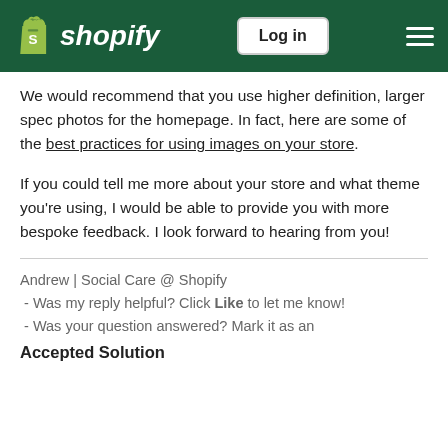Shopify — Log in
We would recommend that you use higher definition, larger spec photos for the homepage. In fact, here are some of the best practices for using images on your store.
If you could tell me more about your store and what theme you're using, I would be able to provide you with more bespoke feedback. I look forward to hearing from you!
Andrew | Social Care @ Shopify
 - Was my reply helpful? Click Like to let me know!
 - Was your question answered? Mark it as an Accepted Solution